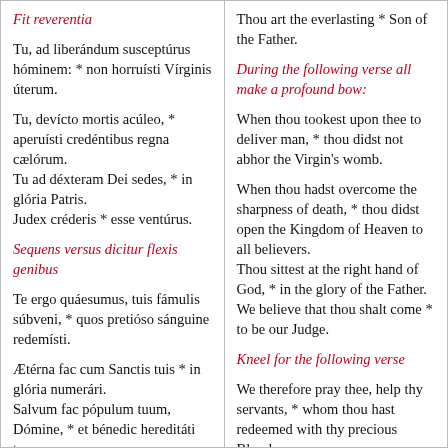Fit reverentia
Tu, ad liberándum susceptúrus hóminem: * non horruísti Vírginis úterum.
Tu, devícto mortis acúleo, * aperuísti credéntibus regna cælórum.
Tu ad déxteram Dei sedes, * in glória Patris.
Judex créderis * esse ventúrus.
Sequens versus dicitur flexis genibus
Te ergo quáesumus, tuis fámulis súbveni, * quos pretióso sánguine redemísti.
Ætérna fac cum Sanctis tuis * in glória numerári.
Salvum fac pópulum tuum, Dómine, * et bénedic hereditáti tuæ.
Et rege eos, * et extólle illos
Thou art the everlasting * Son of the Father.
During the following verse all make a profound bow:
When thou tookest upon thee to deliver man, * thou didst not abhor the Virgin's womb.
When thou hadst overcome the sharpness of death, * thou didst open the Kingdom of Heaven to all believers.
Thou sittest at the right hand of God, * in the glory of the Father.
We believe that thou shalt come * to be our Judge.
Kneel for the following verse
We therefore pray thee, help thy servants, * whom thou hast redeemed with thy precious Blood.